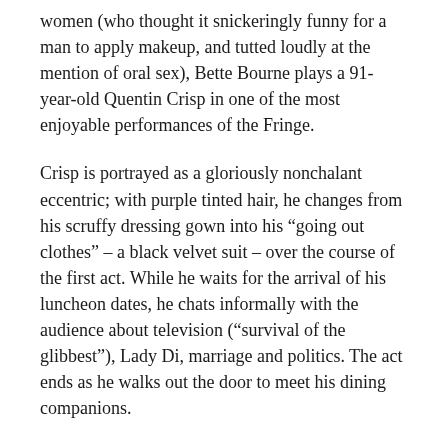women (who thought it snickeringly funny for a man to apply makeup, and tutted loudly at the mention of oral sex), Bette Bourne plays a 91-year-old Quentin Crisp in one of the most enjoyable performances of the Fringe.
Crisp is portrayed as a gloriously nonchalant eccentric; with purple tinted hair, he changes from his scruffy dressing gown into his “going out clothes” – a black velvet suit – over the course of the first act. While he waits for the arrival of his luncheon dates, he chats informally with the audience about television (“survival of the glibbest”), Lady Di, marriage and politics. The act ends as he walks out the door to meet his dining companions.
Act Two has a wonderful opening – Crisp walks in, hair askew, muttering “It wasn’t them” – he’s been